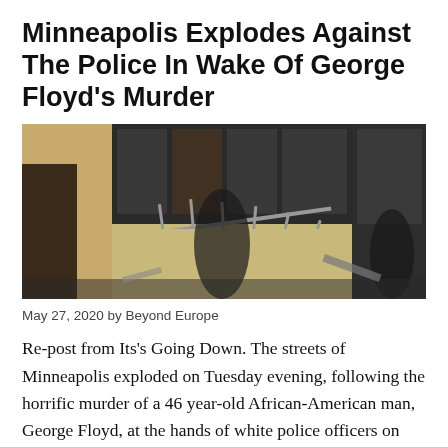Minneapolis Explodes Against The Police In Wake Of George Floyd’s Murder
[Figure (photo): Exterior of a building with broken windows and fencing knocked over, showing aftermath of unrest in Minneapolis]
May 27, 2020 by Beyond Europe
Re-post from Its's Going Down. The streets of Minneapolis exploded on Tuesday evening, following the horrific murder of a 46 year-old African-American man, George Floyd, at the hands of white police officers on Monday. In a now viral video, … [Read more]